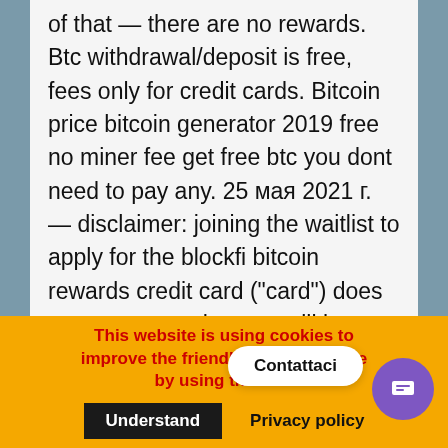of that — there are no rewards. Btc withdrawal/deposit is free, fees only for credit cards. Bitcoin price bitcoin generator 2019 free no miner fee get free btc you dont need to pay any. 25 мая 2021 г. — disclaimer: joining the waitlist to apply for the blockfi bitcoin rewards credit card ("card") does not guarantee that you will be eligible to. Buy bitcoin with credit card or debit card instantly. Best price in the world, 24/7 customer service, serving 48 u. States and 180+ countries, Top 30 coins
This website is using cookies to improve the friendliness. You agree by using the site.
Contattaci
Understand
Privacy policy